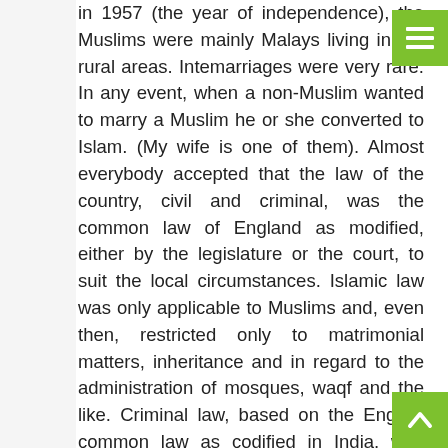in 1957 (the year of independence), the Muslims were mainly Malays living in the rural areas. Intermarriages were very rare. In any event, when a non-Muslim wanted to marry a Muslim he or she converted to Islam. (My wife is one of them). Almost everybody accepted that the law of the country, civil and criminal, was the common law of England as modified, either by the legislature or the court, to suit the local circumstances. Islamic law was only applicable to Muslims and, even then, restricted only to matrimonial matters, inheritance and in regard to the administration of mosques, waqf and the like. Criminal law, based on the English common law as codified in India, was already in place. The only offences that the States are allowed to legislate were and are offences "against the precepts of Islam" and only applicable to Muslims. Similarly, the English law of Contract, law of Evidence and others, which had been